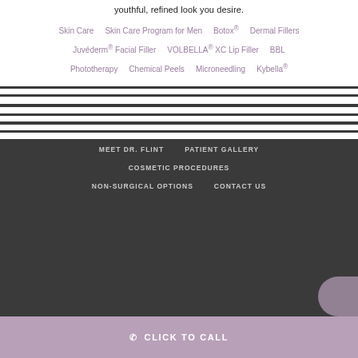youthful, refined look you desire.
Skin Care
Skin Care Program for Men
Botox®
Dermal Fillers
Juvéderm® Facial Filler
VOLBELLA® XC Lip Filler
BBL Phototherapy
Chemical Peels
Microneedling
Kybella®
MEET DR. FLINT   PATIENT GALLERY   COSMETIC PROCEDURES   NON-SURGICAL OPTIONS   CONTACT US
CLICK TO CALL